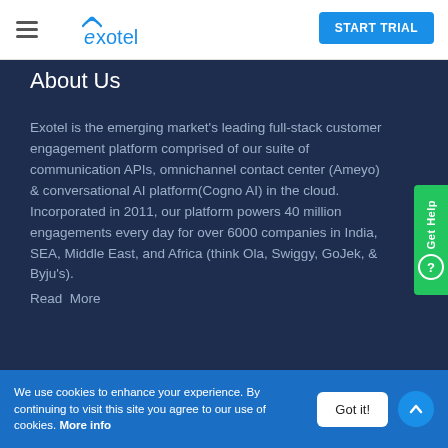[Figure (logo): Exotel logo with WiFi arc above letter e, in blue]
START TRIAL
About Us
Exotel is the emerging market's leading full-stack customer engagement platform comprised of our suite of communication APIs, omnichannel contact center (Ameyo) & conversational AI platform(Cogno AI) in the cloud.
Incorporated in 2011, our platform powers 40 million engagements every day for over 6000 companies in India, SEA, Middle East, and Africa (think Ola, Swiggy, GoJek, & Byju's).
Read  More
We use cookies to enhance your experience. By continuing to visit this site you agree to our use of cookies. More info
Got it!